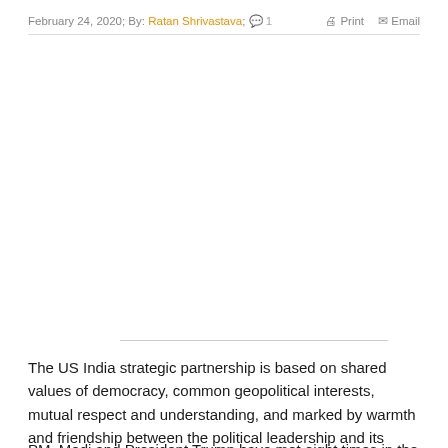February 24, 2020; By: Ratan Shrivastava; 1   Print   Email
[Figure (photo): Image placeholder area (white/blank space where article image would appear)]
The US India strategic partnership is based on shared values of democracy, common geopolitical interests, mutual respect and understanding, and marked by warmth and friendship between the political leadership and its people.
PM Modi and President Trump have met eight times in the